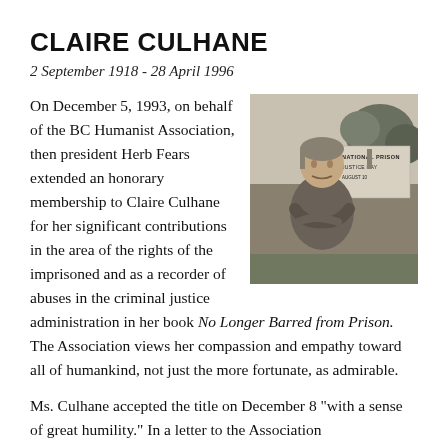CLAIRE CULHANE
2 September 1918 - 28 April 1996
On December 5, 1993, on behalf of the BC Humanist Association, then president Herb Fears extended an honorary membership to Claire Culhane for her significant contributions in the area of the rights of the imprisoned and as a recorder of abuses in the criminal justice administration in her book No Longer Barred from Prison. The Association views her compassion and empathy toward all of humankind, not just the more fortunate, as admirable.
[Figure (photo): Black and white photograph of Claire Culhane standing outdoors with arms crossed, with a sign behind her reading 'National Prison Justice Day August 10']
Ms. Culhane accepted the title on December 8 "with a sense of great humility." In a letter to the Association